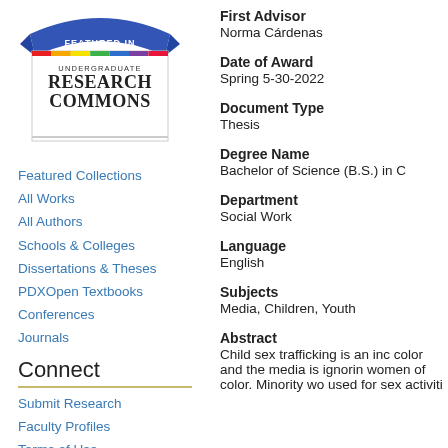[Figure (logo): Featured In Undergraduate Research Commons badge/logo with blue ribbon banner and colorful bar]
Featured Collections
All Works
All Authors
Schools & Colleges
Dissertations & Theses
PDXOpen Textbooks
Conferences
Journals
Connect
Submit Research
Faculty Profiles
Terms of Use
Feedback Form
Contact Us
First Advisor
Norma Cárdenas
Date of Award
Spring 5-30-2022
Document Type
Thesis
Degree Name
Bachelor of Science (B.S.) in C
Department
Social Work
Language
English
Subjects
Media, Children, Youth
Abstract
Child sex trafficking is an inc color and the media is ignorin women of color. Minority wo used for sex activities